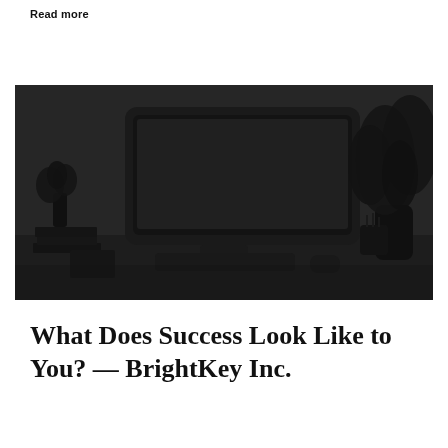Read more
[Figure (photo): Dark-toned desktop workspace photo showing an iMac computer monitor on a desk with plants, books, and stationery in the background]
What Does Success Look Like to You? — BrightKey Inc.